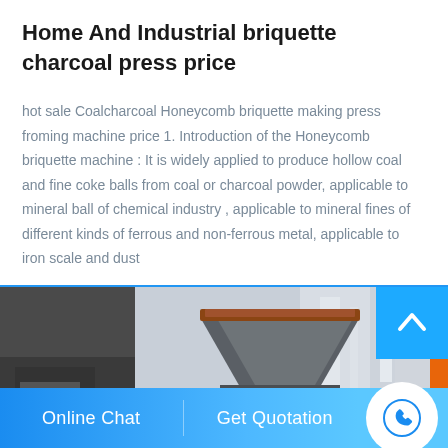Home And Industrial briquette charcoal press price
hot sale Coalcharcoal Honeycomb briquette making press froming machine price 1. Introduction of the Honeycomb briquette machine : It is widely applied to produce hollow coal and fine coke balls from coal or charcoal powder, applicable to mineral ball of chemical industry , applicable to mineral fines of different kinds of ferrous and non-ferrous metal, applicable to iron scale and dust
[Figure (photo): Industrial briquette charcoal press machine in a factory setting, showing heavy machinery with hoppers and pressing components]
Online Chat   Get Quotation